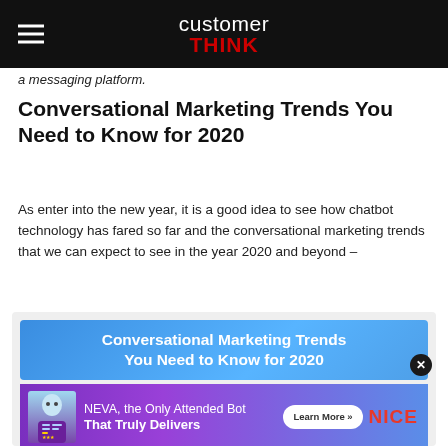customer THINK
a messaging platform.
Conversational Marketing Trends You Need to Know for 2020
As enter into the new year, it is a good idea to see how chatbot technology has fared so far and the conversational marketing trends that we can expect to see in the year 2020 and beyond –
[Figure (screenshot): Advertisement banner with blue gradient background showing 'Conversational Marketing Trends You Need to Know for 2020' and a second purple banner for NEVA bot by NICE with a Learn More button]